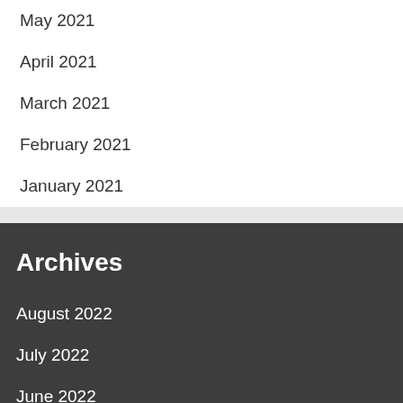May 2021
April 2021
March 2021
February 2021
January 2021
Archives
August 2022
July 2022
June 2022
May 2022